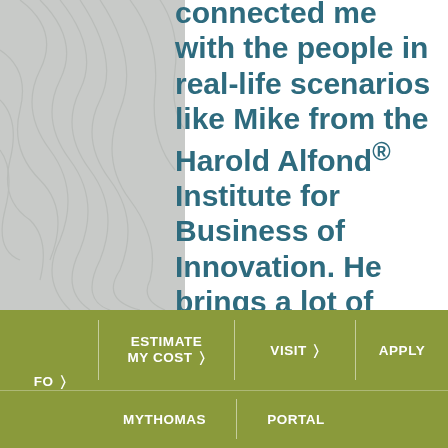connected me with the people in real-life scenarios like Mike from the Harold Alfond® Institute for Business of Innovation. He brings a lot of energy into HAIBI and a lot of encouragement
FO > | ESTIMATE MY COST > | VISIT > | APPLY | MYTHOMAS | PORTAL